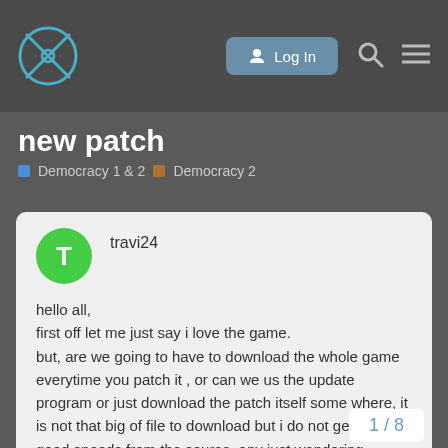Log In
new patch
Democracy 1 & 2  Democracy 2
travi24  Dec '07
hello all,
first off let me just say i love the game.
but, are we going to have to download the whole game everytime you patch it , or can we us the update program or just download the patch itself some where, it is not that big of file to download but i do not get very good speeds from the source. any just wandering, thanks. again i love the game.
1 / 8